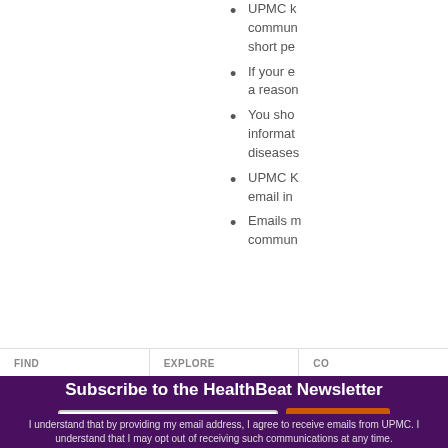UPMC K... commun... short pe...
If your e... a reason...
You sho... informat... diseases...
UPMC K... email in...
Emails m... commun...
FIND   EXPLORE   CO...
Subscribe to the HealthBeat Newsletter
Enter your email to subscribe
Subscribe
I understand that by providing my email address, I agree to receive emails from UPMC. I understand that I may opt out of receiving such communications at any time.